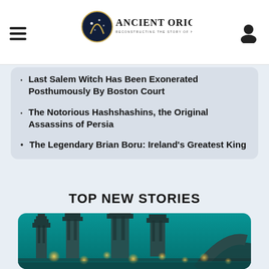Ancient Origins — Reconstructing the Story of Humanity's Past
Last Salem Witch Has Been Exonerated Posthumously By Boston Court
The Notorious Hashshashins, the Original Assassins of Persia
The Legendary Brian Boru: Ireland's Greatest King
TOP NEW STORIES
[Figure (photo): Underwater ruins of ancient temple-like structures with glowing orbs, teal/turquoise water ambiance]